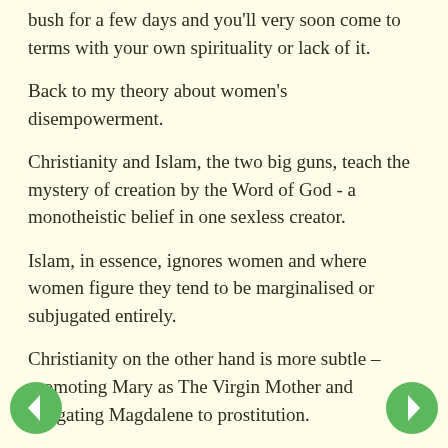bush for a few days and you'll very soon come to terms with your own spirituality or lack of it.
Back to my theory about women's disempowerment.
Christianity and Islam, the two big guns, teach the mystery of creation by the Word of God - a monotheistic belief in one sexless creator.
Islam, in essence, ignores women and where women figure they tend to be marginalised or subjugated entirely.
Christianity on the other hand is more subtle – promoting Mary as The Virgin Mother and relegating Magdalene to prostitution.